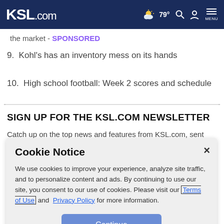KSL.com — 79° weather, search, account, MENU
the market - SPONSORED
9. Kohl's has an inventory mess on its hands
10. High school football: Week 2 scores and schedule
SIGN UP FOR THE KSL.COM NEWSLETTER
Catch up on the top news and features from KSL.com, sent weekly.
Cookie Notice
We use cookies to improve your experience, analyze site traffic, and to personalize content and ads. By continuing to use our site, you consent to our use of cookies. Please visit our Terms of Use and Privacy Policy for more information.
Continue